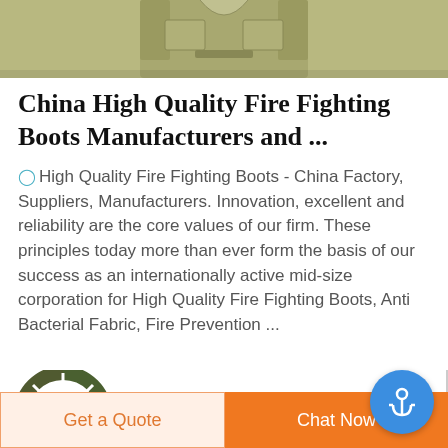[Figure (photo): Partial product image of military/tactical vest or jacket in olive/khaki color, cropped at the top]
China High Quality Fire Fighting Boots Manufacturers and ...
High Quality Fire Fighting Boots - China Factory, Suppliers, Manufacturers. Innovation, excellent and reliability are the core values of our firm. These principles today more than ever form the basis of our success as an internationally active mid-size corporation for High Quality Fire Fighting Boots, Anti Bacterial Fabric, Fire Prevention ...
[Figure (logo): Circular camouflage-pattern logo with letter D in red center]
Get a Quote
Chat Now